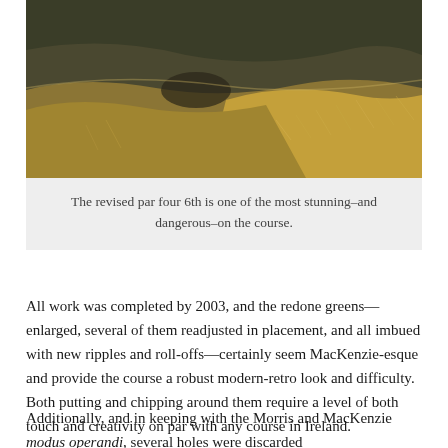[Figure (photo): Close-up landscape photograph of a golf course hillside covered with rough golden-brown grass and green turf, with mounds and bunkers visible, characteristic of a links course.]
The revised par four 6th is one of the most stunning–and dangerous–on the course.
All work was completed by 2003, and the redone greens—enlarged, several of them readjusted in placement, and all imbued with new ripples and roll-offs—certainly seem MacKenzie-esque and provide the course a robust modern-retro look and difficulty. Both putting and chipping around them require a level of both touch and creativity on par with any course in Ireland.
Additionally, and in keeping with the Morris and MacKenzie modus operandi, several holes were discarded